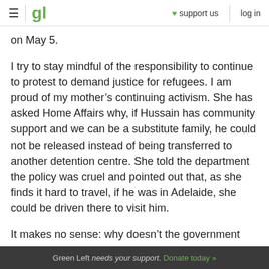gl  ♥ support us  log in
on May 5.
I try to stay mindful of the responsibility to continue to protest to demand justice for refugees. I am proud of my mother's continuing activism. She has asked Home Affairs why, if Hussain has community support and we can be a substitute family, he could not be released instead of being transferred to another detention centre. She told the department the policy was cruel and pointed out that, as she finds it hard to travel, if he was in Adelaide, she could be driven there to visit him.
It makes no sense: why doesn't the government
Green Left needs your support. Donate today »